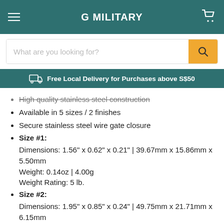G MILITARY
What are you looking for?
Free Local Delivery for Purchases above S$50
High quality stainless steel construction
Available in 5 sizes / 2 finishes
Secure stainless steel wire gate closure
Size #1:
Dimensions: 1.56" x 0.62" x 0.21" | 39.67mm x 15.86mm x 5.50mm
Weight: 0.14oz | 4.00g
Weight Rating: 5 lb.
Size #2:
Dimensions: 1.95" x 0.85" x 0.24" | 49.75mm x 21.71mm x 6.15mm
Weight: 0.25oz | 7.00g
Weight Rating: 10 lb.